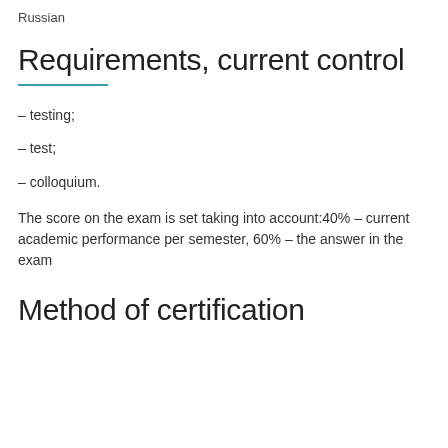Russian
Requirements, current control
– testing;
– test;
– colloquium.
The score on the exam is set taking into account:40% – current academic performance per semester, 60% – the answer in the exam
Method of certification